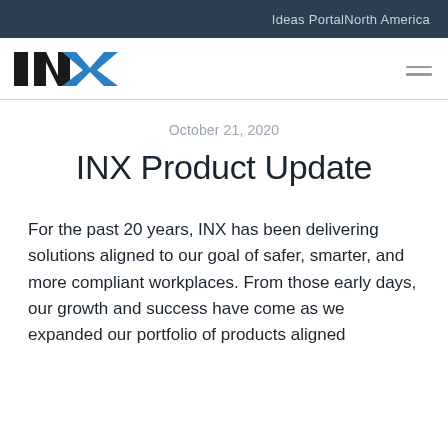Ideas PortalNorth America
[Figure (logo): INX logo with bold black letters I, N and blue X]
October 21, 2020
INX Product Update
For the past 20 years, INX has been delivering solutions aligned to our goal of safer, smarter, and more compliant workplaces. From those early days, our growth and success have come as we expanded our portfolio of products aligned